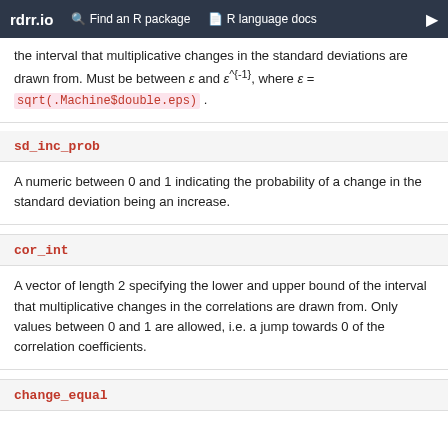rdrr.io   Find an R package   R language docs
the interval that multiplicative changes in the standard deviations are drawn from. Must be between ε and ε^{-1}, where ε = sqrt(.Machine$double.eps) .
sd_inc_prob
A numeric between 0 and 1 indicating the probability of a change in the standard deviation being an increase.
cor_int
A vector of length 2 specifying the lower and upper bound of the interval that multiplicative changes in the correlations are drawn from. Only values between 0 and 1 are allowed, i.e. a jump towards 0 of the correlation coefficients.
change_equal